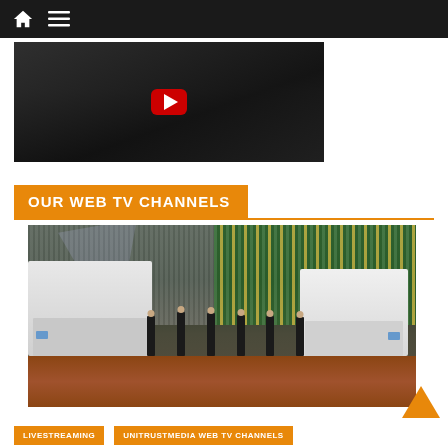Navigation bar with home and menu icons
[Figure (screenshot): Video thumbnail showing a dark scene with a red YouTube play button]
OUR WEB TV CHANNELS
[Figure (photo): Group of six people in black t-shirts standing in front of two white broadcast vans at a sports stadium with colorful seating in the background]
LIVESTREAMING
UNITRUSTMEDIA WEB TV CHANNELS